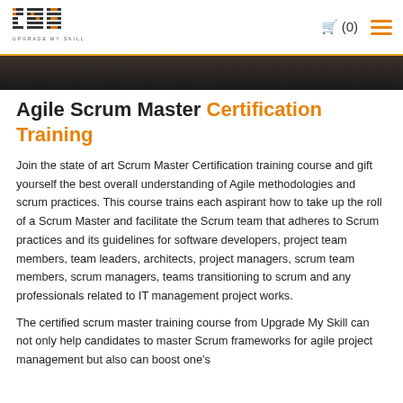UMS Upgrade My Skill — (0) navigation
[Figure (screenshot): Dark banner/hero image strip at top of page]
Agile Scrum Master Certification Training
Join the state of art Scrum Master Certification training course and gift yourself the best overall understanding of Agile methodologies and scrum practices. This course trains each aspirant how to take up the roll of a Scrum Master and facilitate the Scrum team that adheres to Scrum practices and its guidelines for software developers, project team members, team leaders, architects, project managers, scrum team members, scrum managers, teams transitioning to scrum and any professionals related to IT management project works.
The certified scrum master training course from Upgrade My Skill can not only help candidates to master Scrum frameworks for agile project management but also can boost one's